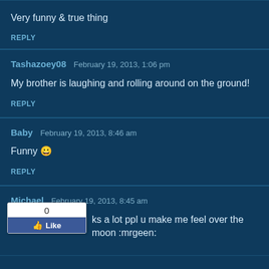Very funny & true thing
REPLY
Tashazoey08   February 19, 2013, 1:06 pm
My brother is laughing and rolling around on the ground!
REPLY
Baby   February 19, 2013, 8:46 am
Funny 😀
REPLY
Michael   February 19, 2013, 8:45 am
ks a lot ppl u make me feel over the moon :mrgeen: